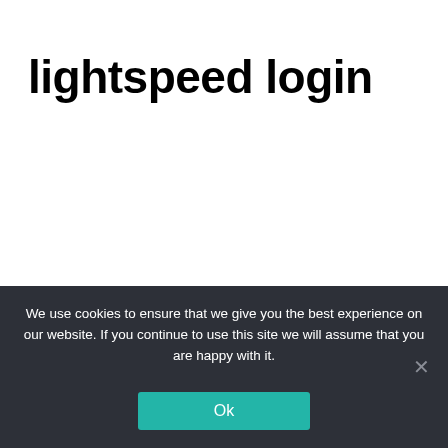lightspeed login
We use cookies to ensure that we give you the best experience on our website. If you continue to use this site we will assume that you are happy with it.
Ok